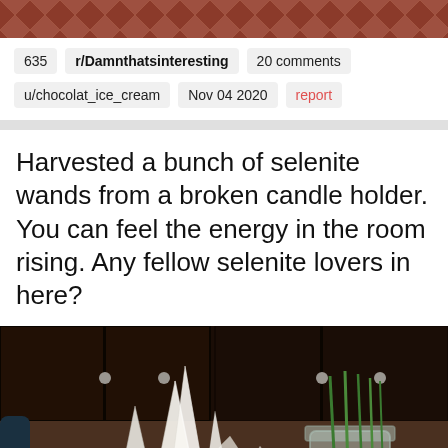[Figure (photo): Decorative patterned banner image at top of page, showing a geometric/floral pattern in copper/brown tones]
635
r/Damnthatsinteresting
20 comments
u/chocolat_ice_cream
Nov 04 2020
report
Harvested a bunch of selenite wands from a broken candle holder. You can feel the energy in the room rising. Any fellow selenite lovers in here?
[Figure (photo): Photo of white selenite crystals/wands arranged on a countertop, with a mason jar containing green onions regrowing in water, dark wood cabinets in background]